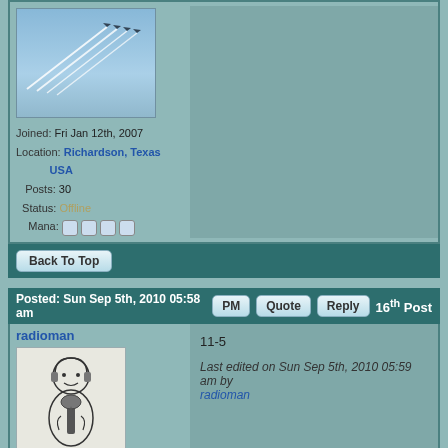[Figure (photo): Photo of jets/planes flying in formation leaving white contrails against a blue sky]
Joined: Fri Jan 12th, 2007
Location: Richardson, Texas USA
Posts: 30
Status: Offline
Mana: ○○○○
Back To Top
Posted: Sun Sep 5th, 2010 05:58 am   PM  Quote  Reply  16th Post
radioman
[Figure (illustration): Vintage cartoon illustration of a man at a microphone (radio announcer)]
Joined: Wed Mar 2nd, 2005
Location:
Posts: 2374
Status:
Mana: ●○○○
11-5

Last edited on Sun Sep 5th, 2010 05:59 am by radioman
Back To Top